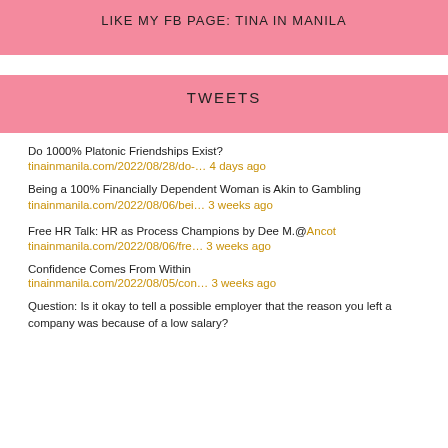LIKE MY FB PAGE: TINA IN MANILA
TWEETS
Do 1000% Platonic Friendships Exist? tinainmanila.com/2022/08/28/do-… 4 days ago
Being a 100% Financially Dependent Woman is Akin to Gambling tinainmanila.com/2022/08/06/bei… 3 weeks ago
Free HR Talk: HR as Process Champions by Dee M.@Ancot tinainmanila.com/2022/08/06/fre… 3 weeks ago
Confidence Comes From Within tinainmanila.com/2022/08/05/con… 3 weeks ago
Question: Is it okay to tell a possible employer that the reason you left a company was because of a low salary?